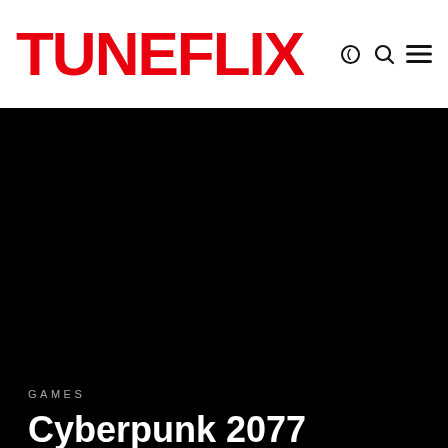TUNEFLIX
[Figure (photo): Dark/black hero image background for Cyberpunk 2077 article]
GAMES
Cyberpunk 2077 Soundtrack